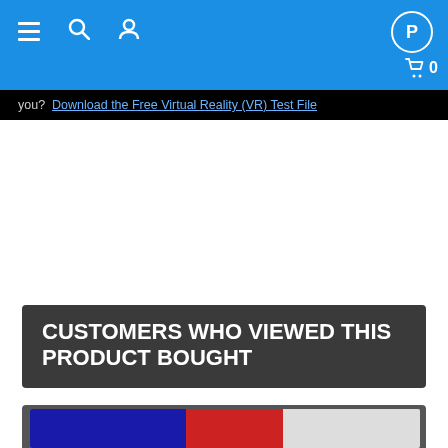[Figure (screenshot): Blue navigation bar with hamburger menu, search icon, user icon on left, PayPal logo top right, cart icon bottom right]
you?  Download the Free Virtual Reality (VR) Test File
CAMERA USED: Vuze 360
TIME: 5.00 min
SIZE: 376 Mb
FORMAT: MP4
RESOLUTION: 3840x2160
FOV: 180 degrees
DATE POSTED: 4/11/2022
CUSTOMERS WHO VIEWED THIS PRODUCT BOUGHT
[Figure (photo): Partially visible product thumbnail with grey background and flag/logo imagery]